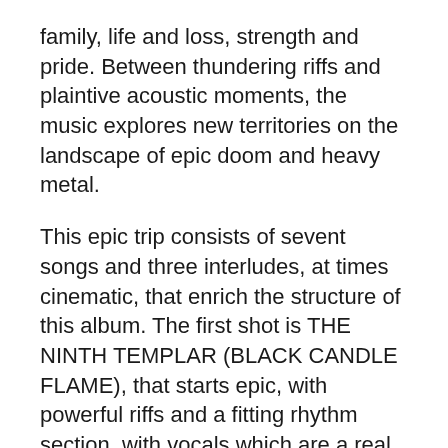family, life and loss, strength and pride. Between thundering riffs and plaintive acoustic moments, the music explores new territories on the landscape of epic doom and heavy metal. This epic trip consists of sevent songs and three interludes, at times cinematic, that enrich the structure of this album. The first shot is THE NINTH TEMPLAR (BLACK CANDLE FLAME), that starts epic, with powerful riffs and a fitting rhythm section, with vocals which are a real added value, the whole thing enriched by a solo inspired and technical. KEY OF SOLOMON is a great example of powerful doom while OUR REVEREND'S GRAVE goes on with its epic doom, powerful and hieratic, with